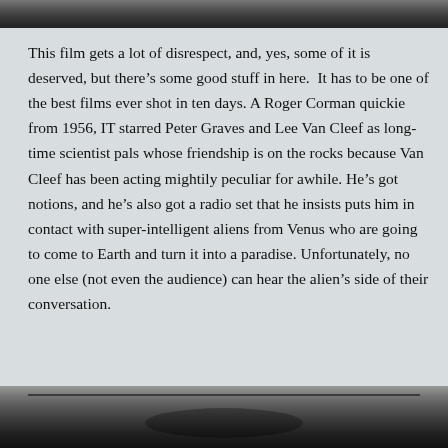[Figure (photo): Top portion of a black and white film still, cropped at the top of the page]
This film gets a lot of disrespect, and, yes, some of it is deserved, but there’s some good stuff in here.  It has to be one of the best films ever shot in ten days. A Roger Corman quickie from 1956, IT starred Peter Graves and Lee Van Cleef as long-time scientist pals whose friendship is on the rocks because Van Cleef has been acting mightily peculiar for awhile. He’s got notions, and he’s also got a radio set that he insists puts him in contact with super-intelligent aliens from Venus who are going to come to Earth and turn it into a paradise. Unfortunately, no one else (not even the audience) can hear the alien’s side of their conversation.
[Figure (photo): Bottom portion of a black and white film still showing figures behind bars or a grid, cropped at the bottom of the page]